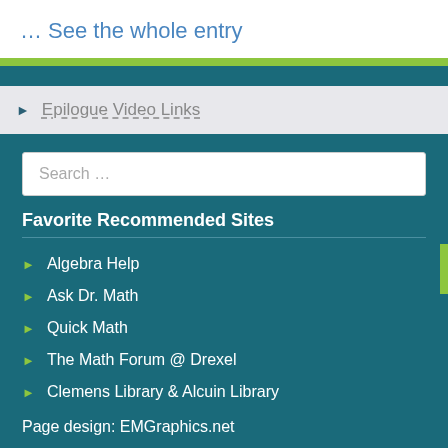… See the whole entry
Epilogue Video Links
Search …
Favorite Recommended Sites
Algebra Help
Ask Dr. Math
Quick Math
The Math Forum @ Drexel
Clemens Library & Alcuin Library
Page design: EMGraphics.net